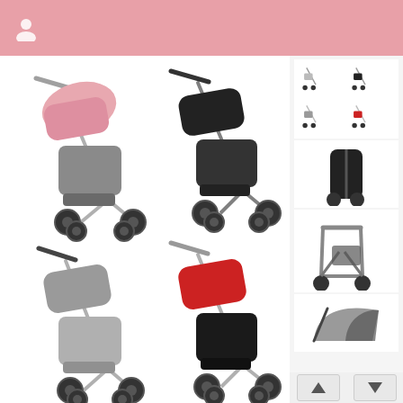[Figure (screenshot): Mobile app screenshot showing a product page for Bugaboo Ant stroller. Pink header bar with user profile icon at top. Main area shows 4 stroller images in 2x2 grid: top-left with pink canopy, top-right with black canopy, bottom-left with grey canopy, bottom-right with red canopy. Right sidebar shows thumbnail images of various stroller configurations including folded and frame views, plus navigation arrows at the bottom.]